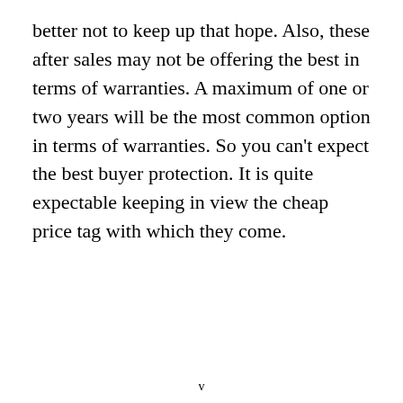better not to keep up that hope. Also, these after sales may not be offering the best in terms of warranties. A maximum of one or two years will be the most common option in terms of warranties. So you can't expect the best buyer protection. It is quite expectable keeping in view the cheap price tag with which they come.
v